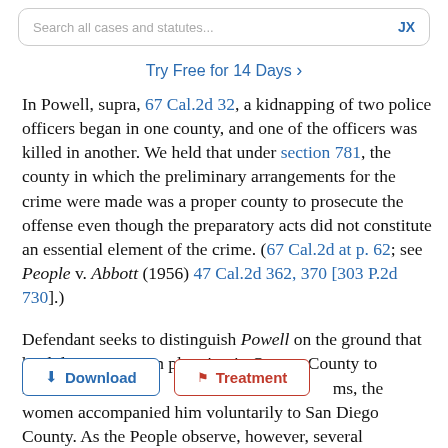Search all cases and statutes...   JX
Try Free for 14 Days >
In Powell, supra, 67 Cal.2d 32, a kidnapping of two police officers began in one county, and one of the officers was killed in another. We held that under section 781, the county in which the preliminary arrangements for the crime were made was a proper county to prosecute the offense even though the preparatory acts did not constitute an essential element of the crime. (67 Cal.2d at p. 62; see People v. Abbott (1956) 47 Cal.2d 362, 370 [303 P.2d 730].)
Defendant seeks to distinguish Powell on the ground that he did not engage in planning in Orange County to murder or ti ms, the women accompanied him voluntarily to San Diego County. As the People observe, however, several
[Figure (other): Download button (blue outline) and Treatment button (red outline) overlaid on text]